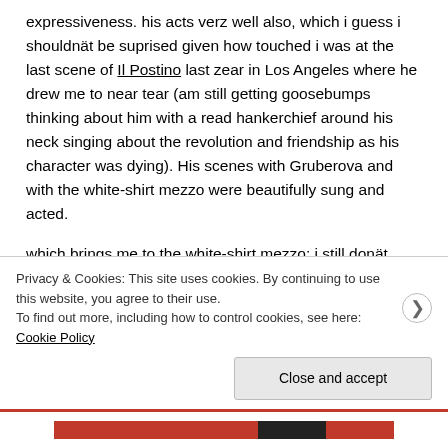expressiveness. his acts verz well also, which i guess i shouldnät be suprised given how touched i was at the last scene of Il Postino last zear in Los Angeles where he drew me to near tear (am still getting goosebumps thinking about him with a read hankerchief around his neck singing about the revolution and friendship as his character was dying). His scenes with Gruberova and with the white-shirt mezzo were beautifully sung and acted.
which brings me to the white-shirt mezzo: i still donät know her name nor the character she plazed, but man she kept me awake! like like like! perhaps she could trz Romeo next time. (edit: found her) i also discovered this cool aria which i
Privacy & Cookies: This site uses cookies. By continuing to use this website, you agree to their use.
To find out more, including how to control cookies, see here: Cookie Policy